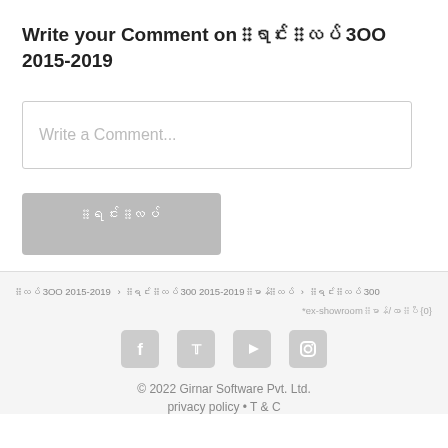Write your Comment on ███████ ██████ 3OO 2015-2019
[Figure (screenshot): Comment input text box with placeholder text 'Write a Comment...']
[Figure (screenshot): Submit button with text in non-Latin script]
█████ 3OO 2015-2019 › ███████ ██████ 300 2015-2019 ██████████ › ███████ ██████ 300
*ex-showroom ████/███ ████ {0}
[Figure (other): Social media icons: Facebook, Twitter, YouTube, Instagram]
© 2022 Girnar Software Pvt. Ltd.
privacy policy • T & C